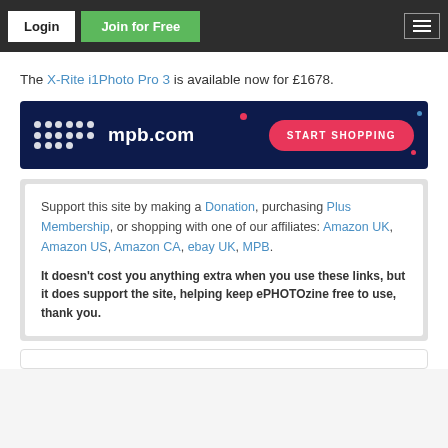Login | Join for Free
The X-Rite i1Photo Pro 3 is available now for £1678.
[Figure (illustration): MPB.com advertisement banner with dark navy background, dot grid logo, mpb.com text, and a pink 'START SHOPPING' button]
Support this site by making a Donation, purchasing Plus Membership, or shopping with one of our affiliates: Amazon UK, Amazon US, Amazon CA, ebay UK, MPB.

It doesn't cost you anything extra when you use these links, but it does support the site, helping keep ePHOTOzine free to use, thank you.